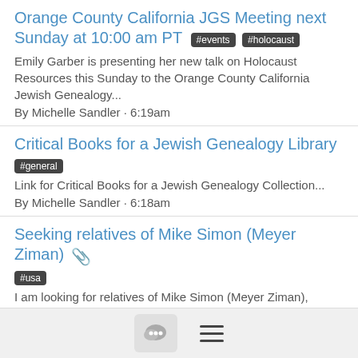Orange County California JGS Meeting next Sunday at 10:00 am PT #events #holocaust
Emily Garber is presenting her new talk on Holocaust Resources this Sunday to the Orange County California Jewish Genealogy... By Michelle Sandler · 6:19am
Critical Books for a Jewish Genealogy Library #general
Link for Critical Books for a Jewish Genealogy Collection... By Michelle Sandler · 6:18am
Seeking relatives of Mike Simon (Meyer Ziman) 📎 #usa
I am looking for relatives of Mike Simon (Meyer Ziman), recently from Denver, who provided testimony in the link below (USC... By Ann Scher · Aug 22
Belarus SIG Seeking information on various family members #belarus